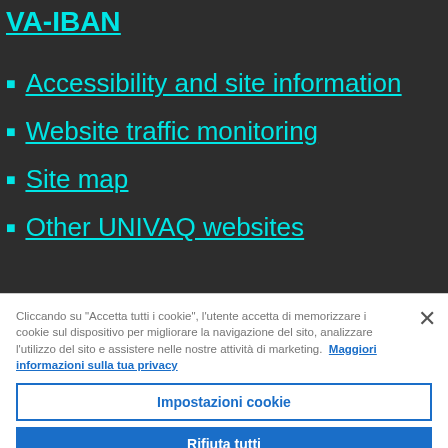VA-IBAN
Accessibility and site information
Website traffic monitoring
Site map
Other UNIVAQ websites
Cliccando su "Accetta tutti i cookie", l'utente accetta di memorizzare i cookie sul dispositivo per migliorare la navigazione del sito, analizzare l'utilizzo del sito e assistere nelle nostre attività di marketing. Maggiori informazioni sulla tua privacy
Impostazioni cookie
Rifiuta tutti
Accetta tutti i cookie